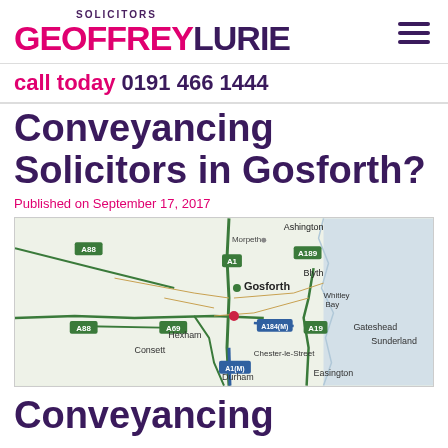SOLICITORS GEOFFREYLURIE
call today 0191 466 1444
Conveyancing Solicitors in Gosforth?
Published on September 17, 2017
[Figure (map): Road map showing Gosforth and surrounding areas in North East England, including Morpeth, Ashington, Blyth, Whitley Bay, Gateshead, Hexham, Consett, Chester-le-Street, Sunderland, Durham, Easington. Roads labeled A88, A1, A1(M), A19, A69, A184(M), A189.]
Conveyancing